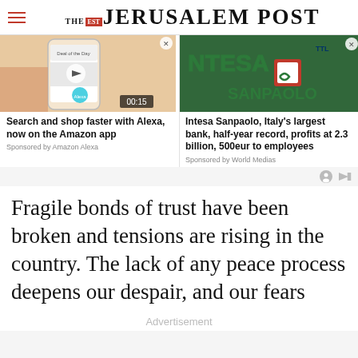THE JERUSALEM POST
[Figure (photo): Amazon app on phone showing Alexa shopping interface with video play button and 00:15 timer]
Search and shop faster with Alexa, now on the Amazon app
Sponsored by Amazon Alexa
[Figure (photo): Intesa Sanpaolo bank sign with green lettering and logo]
Intesa Sanpaolo, Italy's largest bank, half-year record, profits at 2.3 billion, 500eur to employees
Sponsored by World Medias
Fragile bonds of trust have been broken and tensions are rising in the country. The lack of any peace process deepens our despair, and our fears
Advertisement